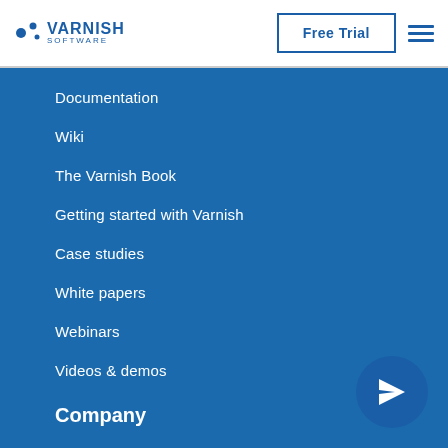[Figure (logo): Varnish Software logo with blue dots and text]
Free Trial
[Figure (other): Hamburger menu icon (three horizontal lines)]
Documentation
Wiki
The Varnish Book
Getting started with Varnish
Case studies
White papers
Webinars
Videos & demos
Company
About us
Blog
Careers
[Figure (other): Paper airplane / send icon button in bottom right corner]